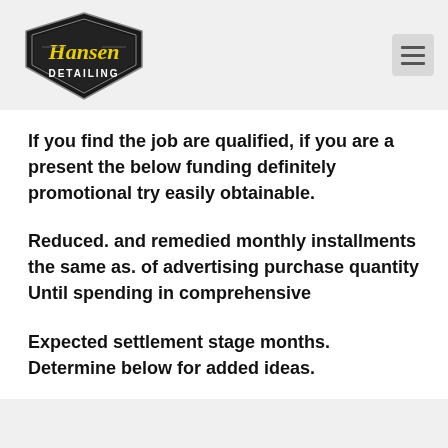[Figure (logo): Hansen Detailing logo — shield shape with yellow script text 'Hansen' and 'DETAILING' below in white text on black/dark background]
If you find the job are qualified, if you are a present the below funding definitely promotional try easily obtainable.
Reduced. and remedied monthly installments the same as. of advertising purchase quantity Until spending in comprehensive
Expected settlement stage months. Determine below for added ideas.